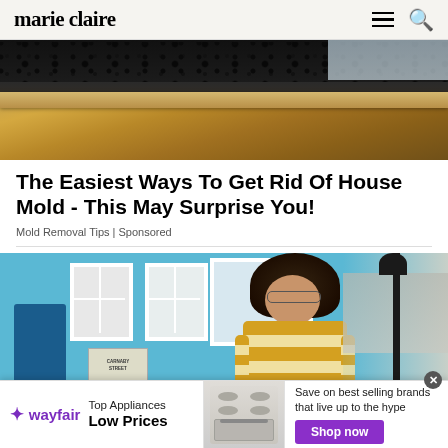marie claire
[Figure (photo): Close-up photo of house mold near a window with wooden floor and baseboard]
The Easiest Ways To Get Rid Of House Mold - This May Surprise You!
Mold Removal Tips | Sponsored
[Figure (photo): Young woman with curly hair wearing a yellow and white striped top, standing in front of a blue building with white windows on a street]
[Figure (infographic): Wayfair advertisement banner: Top Appliances Low Prices, Save on best selling brands that live up to the hype, Shop now button, with image of kitchen range/stove]